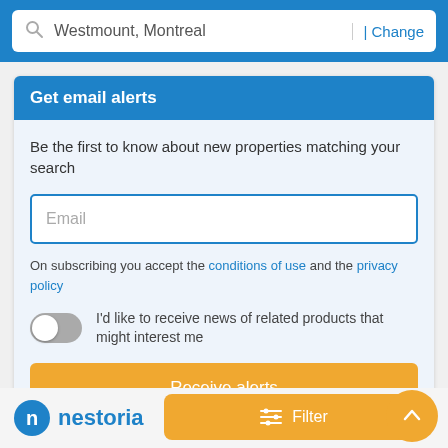Westmount, Montreal | Change
Get email alerts
Be the first to know about new properties matching your search
Email
On subscribing you accept the conditions of use and the privacy policy
I'd like to receive news of related products that might interest me
Receive alerts
[Figure (screenshot): Nestoria logo with blue circle containing 'n' and text 'nestoria']
Filter